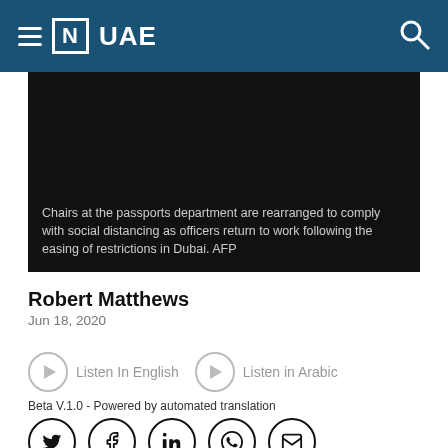≡ [N] UAE
[Figure (photo): Dark photo with caption overlay showing chairs at passports department rearranged for social distancing]
Chairs at the passports department are rearranged to comply with social distancing as officers return to work following the easing of restrictions in Dubai. AFP
Robert Matthews
Jun 18, 2020
▶ Listen In English   ▶ Listen in Arabic
Beta V.1.0 - Powered by automated translation
[Figure (infographic): Social share icons: Twitter, Facebook, LinkedIn, WhatsApp, Email]